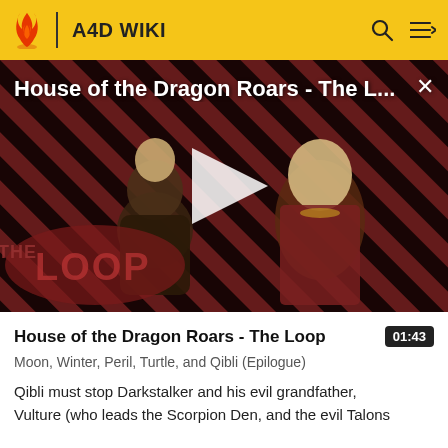A4D WIKI
[Figure (screenshot): Video thumbnail for 'House of the Dragon Roars - The Loop' showing two characters in armor against a red diagonal striped background, with a play button overlay and THE LOOP logo in the lower left. Title text reads 'House of the Dragon Roars - The L...' with a close X button.]
House of the Dragon Roars - The Loop
01:43
Moon, Winter, Peril, Turtle, and Qibli (Epilogue)
Qibli must stop Darkstalker and his evil grandfather, Vulture (who leads the Scorpion Den, and the evil Talons